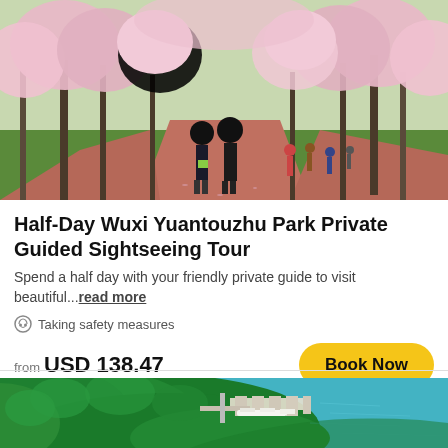[Figure (photo): Cherry blossom tree-lined path in a park with people walking along a red brick pathway, lush green grass on sides.]
Half-Day Wuxi Yuantouzhu Park Private Guided Sightseeing Tour
Spend a half day with your friendly private guide to visit beautiful...read more
Taking safety measures
from USD 138.47
[Figure (photo): Aerial view of Wuxi Yuantouzhu Park peninsula with dense green trees and a marina/dock area with boats along turquoise lake water.]